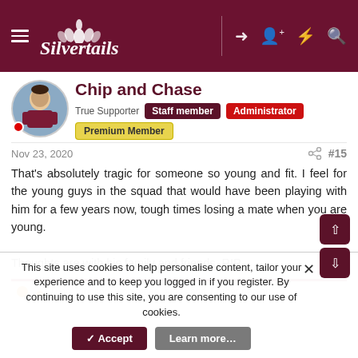Silvertails — navigation header with hamburger menu, logo, login icons
Chip and Chase
True Supporter  Staff member  Administrator  Premium Member
Nov 23, 2020  #15
That's absolutely tragic for someone so young and fit. I feel for the young guys in the squad that would have been playing with him for a few years now, tough times losing a mate when you are young.

Thoughts are with his family and friends. RIP.
Dion Johnson, wombatee, aidos and 1 other person
This site uses cookies to help personalise content, tailor your experience and to keep you logged in if you register. By continuing to use this site, you are consenting to our use of cookies.